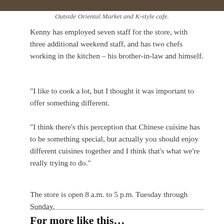[Figure (photo): Top portion of an image showing the outside of Oriental Market and K-style cafe, cropped at the top edge]
Outside Oriental Market and K-style cafe.
Kenny has employed seven staff for the store, with three additional weekend staff, and has two chefs working in the kitchen – his brother-in-law and himself.
“I like to cook a lot, but I thought it was important to offer something different.
“I think there’s this perception that Chinese cuisine has to be something special, but actually you should enjoy different cuisines together and I think that’s what we’re really trying to do.”
The store is open 8 a.m. to 5 p.m. Tuesday through Sunday.
For more like this…